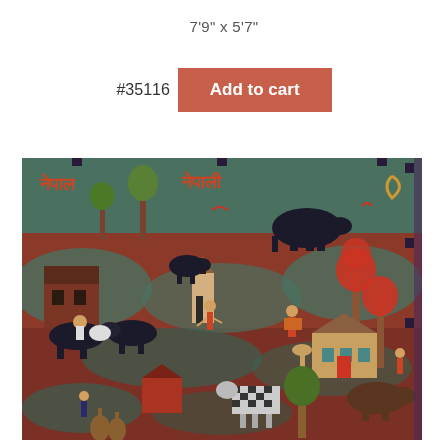7'9" x 5'7"
#35116
Add to cart
[Figure (photo): Nepalese hand-knotted decorative rug with a teal and red color scheme featuring folk art motifs including animals, human figures, houses, trees, and Devanagari script text, photographed hanging on a wall.]